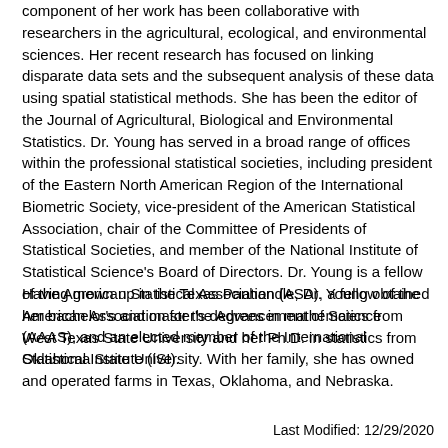component of her work has been collaborative with researchers in the agricultural, ecological, and environmental sciences. Her recent research has focused on linking disparate data sets and the subsequent analysis of these data using spatial statistical methods. She has been the editor of the Journal of Agricultural, Biological and Environmental Statistics. Dr. Young has served in a broad range of offices within the professional statistical societies, including president of the Eastern North American Region of the International Biometric Society, vice-president of the American Statistical Association, chair of the Committee of Presidents of Statistical Societies, and member of the National Institute of Statistical Science's Board of Directors. Dr. Young is a fellow of the American Statistical Association (ASA), a fellow of the American Association for the Advancement of Science (AAAS), and an elected member of the International Statistical Institute (ISI).
Having grown up in the Texas Panhandle, Dr. Young obtained her bachelor's and master's degrees in mathematics from West Texas State University and her Ph.D. in statistics from Oklahoma State University. With her family, she has owned and operated farms in Texas, Oklahoma, and Nebraska.
Last Modified: 12/29/2020